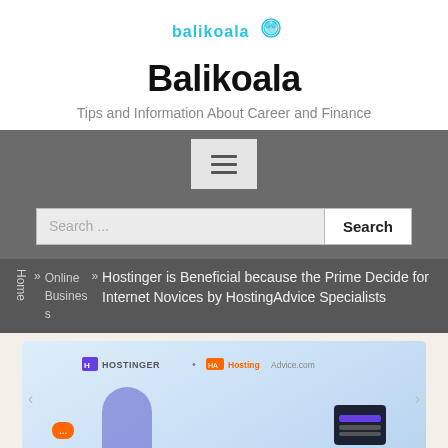[Figure (logo): Balikoala logo with cyan text and small koala icon]
Balikoala
Tips and Information About Career and Finance
[Figure (other): Navigation menu button with hamburger icon on grey background]
[Figure (other): Search bar with Search... placeholder and Search button]
Home » Online Businesses » Hostinger is Beneficial because the Prime Decide for Internet Novices by HostingAdvice Specialists
[Figure (screenshot): Hostinger and HostingAdvice.com partnership banner image with illustrated figures]